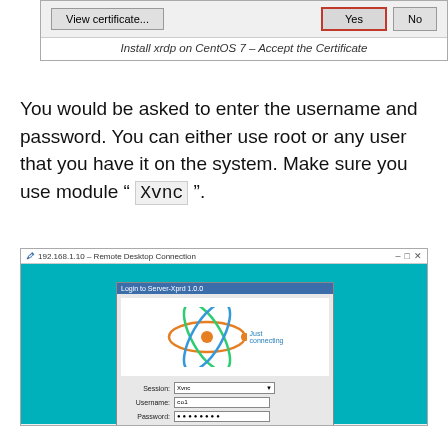[Figure (screenshot): Dialog with View certificate..., Yes (highlighted in red border), and No buttons]
Install xrdp on CentOS 7 – Accept the Certificate
You would be asked to enter the username and password. You can either use root or any user that you have it on the system. Make sure you use module " Xvnc ".
[Figure (screenshot): Remote Desktop Connection window showing xrdp login screen with teal background, xrdp logo, and login fields for session (Xvnc), username (col), and password]